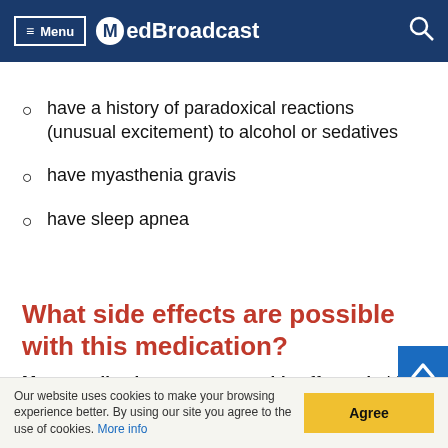Menu MedBroadcast
have a history of paradoxical reactions (unusual excitement) to alcohol or sedatives
have myasthenia gravis
have sleep apnea
What side effects are possible with this medication?
Many medications can cause side effects. A side
Our website uses cookies to make your browsing experience better. By using our site you agree to the use of cookies. More info